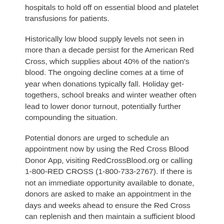hospitals to hold off on essential blood and platelet transfusions for patients.
Historically low blood supply levels not seen in more than a decade persist for the American Red Cross, which supplies about 40% of the nation's blood. The ongoing decline comes at a time of year when donations typically fall. Holiday get-togethers, school breaks and winter weather often lead to lower donor turnout, potentially further compounding the situation.
Potential donors are urged to schedule an appointment now by using the Red Cross Blood Donor App, visiting RedCrossBlood.org or calling 1-800-RED CROSS (1-800-733-2767). If there is not an immediate opportunity available to donate, donors are asked to make an appointment in the days and weeks ahead to ensure the Red Cross can replenish and then maintain a sufficient blood supply.